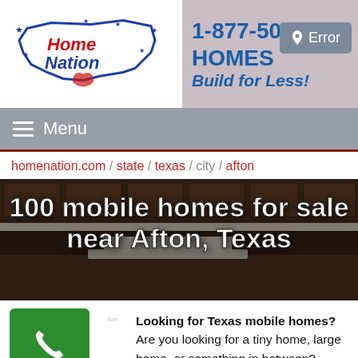[Figure (logo): Home Nation logo with USA map outline, stars, and red/blue text]
1-877-50-HOMES Build for Less!
Error
≡ Menu
homenation.com / state / texas / city / afton
100 mobile homes for sale near Afton, Texas
Looking for Texas mobile homes? Are you looking for a tiny home, large home, or something in between? Home Nation, a ed business based in Goshen, Indiana